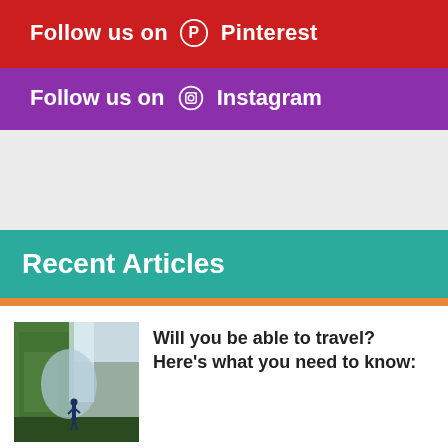Follow us on Pinterest
Follow us on Instagram
Recent Articles
[Figure (photo): A hiker standing at the entrance of a mossy green cave or rock formation with a waterfall or misty background]
Will you be able to travel? Here's what you need to know:
We use cookies to ensure that we give you the best experience on our website. If you continue to use this site we will assume that you are happy with it.